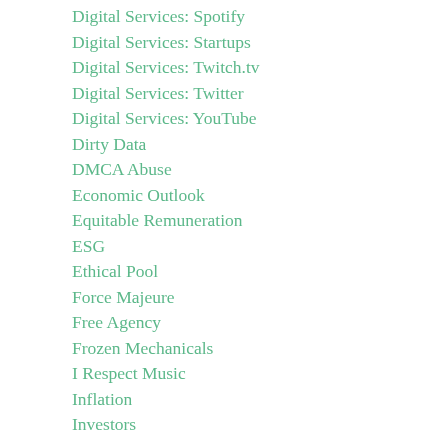Digital Services: Spotify
Digital Services: Startups
Digital Services: Twitch.tv
Digital Services: Twitter
Digital Services: YouTube
Dirty Data
DMCA Abuse
Economic Outlook
Equitable Remuneration
ESG
Ethical Pool
Force Majeure
Free Agency
Frozen Mechanicals
I Respect Music
Inflation
Investors